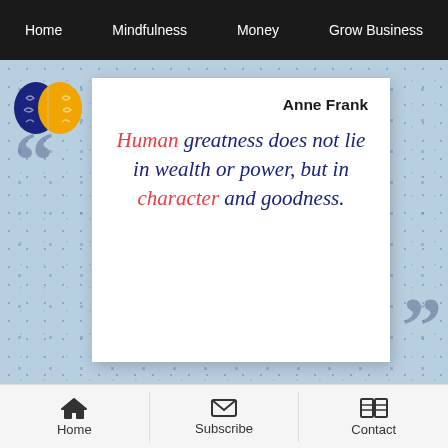Home  Mindfulness  Money  Grow Business
[Figure (logo): Two-color brain logo icon: left hemisphere dark navy blue, right hemisphere golden yellow]
“
Anne Frank
Human greatness does not lie in wealth or power, but in character and goodness.
”
Home  Subscribe  Contact